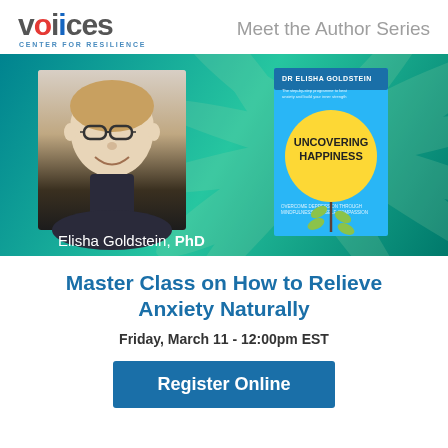[Figure (logo): Voices Center for Resilience logo with red and blue colored letters]
Meet the Author Series
[Figure (photo): Banner with teal background showing a photo of Elisha Goldstein PhD on the left and the book cover 'Uncovering Happiness' by Dr Elisha Goldstein on the right]
Elisha Goldstein, PhD
Master Class on How to Relieve Anxiety Naturally
Friday, March 11 - 12:00pm EST
Register Online